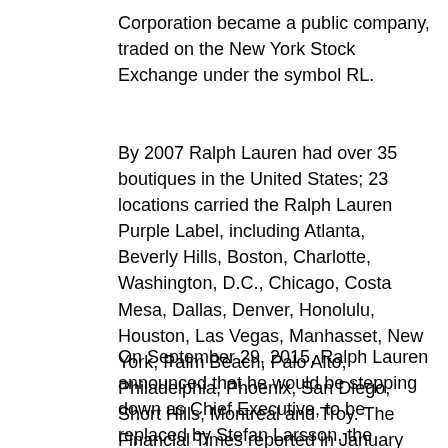Corporation became a public company, traded on the New York Stock Exchange under the symbol RL.
By 2007 Ralph Lauren had over 35 boutiques in the United States; 23 locations carried the Ralph Lauren Purple Label, including Atlanta, Beverly Hills, Boston, Charlotte, Washington, D.C., Chicago, Costa Mesa, Dallas, Denver, Honolulu, Houston, Las Vegas, Manhasset, New York, Palm Beach, Palo Alto, Philadelphia, Phoenix, San Diego, Short Hills, Montreal and Troy. The Financial Times reported in January 2010 that the firm had revenues of $5 billion for fiscal year 2009.
On September 29, 2015, Ralph Lauren announced that he would be stepping down as Chief Executive, to be replaced by Stefan Larsson, the President of Gap's Old Navy chain.